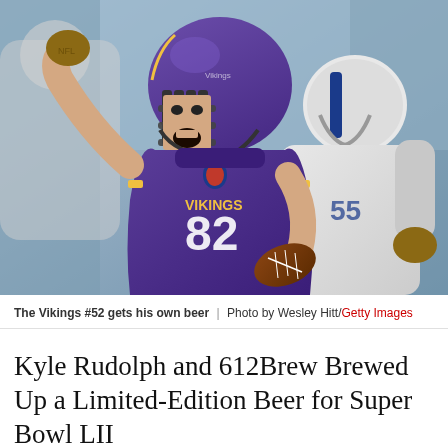[Figure (photo): Minnesota Vikings player #82 in purple jersey running with a football, mouth open yelling, with a Dallas Cowboys player in white jersey behind him. Action shot from an NFL game.]
The Vikings #52 gets his own beer | Photo by Wesley Hitt/Getty Images
Kyle Rudolph and 612Brew Brewed Up a Limited-Edition Beer for Super Bowl LII